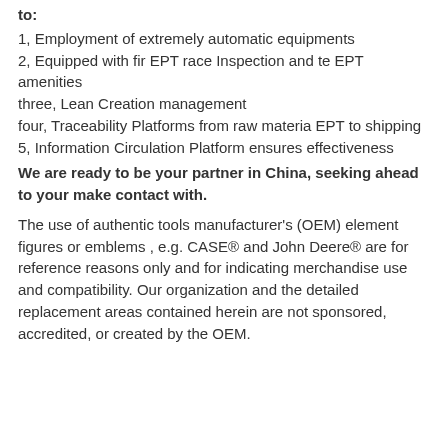to:
1, Employment of extremely automatic equipments
2, Equipped with fir EPT race Inspection and te EPT amenities
three, Lean Creation management
four, Traceability Platforms from raw materia EPT to shipping
5, Information Circulation Platform ensures effectiveness
We are ready to be your partner in China, seeking ahead to your make contact with.
The use of authentic tools manufacturer's (OEM) element figures or emblems , e.g. CASE® and John Deere® are for reference reasons only and for indicating merchandise use and compatibility. Our organization and the detailed replacement areas contained herein are not sponsored, accredited, or created by the OEM.